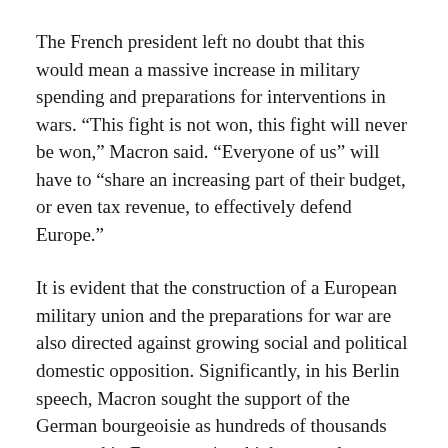The French president left no doubt that this would mean a massive increase in military spending and preparations for interventions in wars. “This fight is not won, this fight will never be won,” Macron said. “Everyone of us” will have to “share an increasing part of their budget, or even tax revenue, to effectively defend Europe.”
It is evident that the construction of a European military union and the preparations for war are also directed against growing social and political domestic opposition. Significantly, in his Berlin speech, Macron sought the support of the German bourgeoisie as hundreds of thousands protested in France against higher petrol taxes. Protesters blocked roads and demanded the resignation of the “president of the rich.”
The fact that Macron’s appeal has been applauded by the Left Party speaks volumes about the pro-imperialist and...